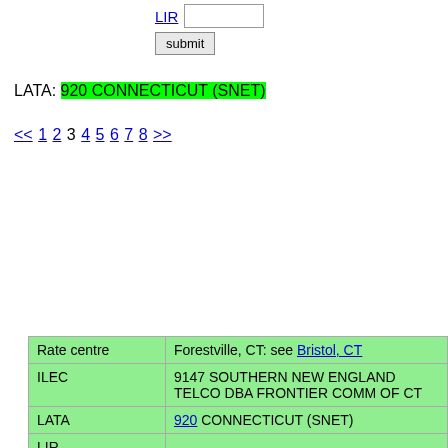LIR [input field]
submit
LATA: 920 CONNECTICUT (SNET)
<< 1 2 3 4 5 6 7 8 >>
|  |  |
| --- | --- |
| Rate centre | Forestville, CT: see Bristol, CT |
| ILEC | 9147 SOUTHERN NEW ENGLAND TELCO DBA FRONTIER COMM OF CT |
| LATA | 920 CONNECTICUT (SNET) |
| LIR |  |
| Rate centre | Fort Trumbull, CT: see New London, CT |
| ILEC | 9147 SOUTHERN NEW ENGLAND TELCO DBA FRONTIER COMM OF CT |
| LATA | 920 CONNECTICUT (SNET) |
| LIR |  |
| Rate centre | Franklin, CT: see Lebanon, CT |